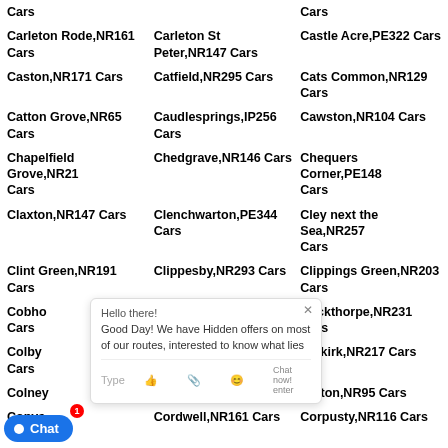Cars
Cars
Cars
Carleton Rode,NR161 Cars
Carleton St Peter,NR147 Cars
Castle Acre,PE322 Cars
Caston,NR171 Cars
Catfield,NR295 Cars
Cats Common,NR129 Cars
Catton Grove,NR65 Cars
Caudlesprings,IP256 Cars
Cawston,NR104 Cars
Chapelfield Grove,NR21 Cars
Chedgrave,NR146 Cars
Chequers Corner,PE148 Cars
Claxton,NR147 Cars
Clenchwarton,PE344 Cars
Cley next the Sea,NR257 Cars
Clint Green,NR191 Cars
Clippesby,NR293 Cars
Clippings Green,NR203 Cars
Cobho... 0 Cars
Cockley Cley,PE378 Cars
Cockthorpe,NR231 Cars
Colby Cars
Colegate End,IP214 Cars
Colkirk,NR217 Cars
Colney Cars
Coltishall,NR127 Cars
Colton,NR95 Cars
Copys Cars
Cordwell,NR161 Cars
Corpusty,NR116 Cars
C... NR85 Cars
Costessey Park,NR85 Cars
Coston,NR94 Cars